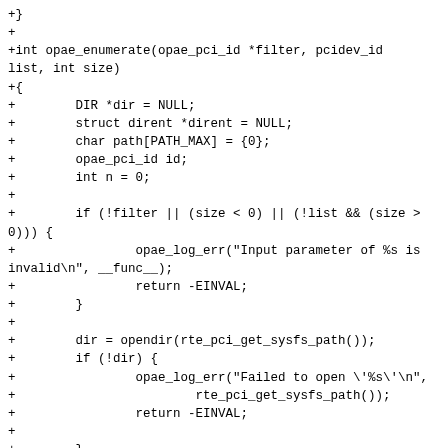+}
+
+int opae_enumerate(opae_pci_id *filter, pcidev_id list, int size)
+{
+        DIR *dir = NULL;
+        struct dirent *dirent = NULL;
+        char path[PATH_MAX] = {0};
+        opae_pci_id id;
+        int n = 0;
+
+        if (!filter || (size < 0) || (!list && (size > 0))) {
+                opae_log_err("Input parameter of %s is invalid\n", __func__);
+                return -EINVAL;
+        }
+
+        dir = opendir(rte_pci_get_sysfs_path());
+        if (!dir) {
+                opae_log_err("Failed to open \'%s\'\n",
+                        rte_pci_get_sysfs_path());
+                return -EINVAL;
+
+        }
+        while ((dirent = readdir(dir))) {
+                if (!strcmp(dirent->d_name, "."))
+                        continue;
+                if (!strcmp(dirent->d_name, ".."))
+                        continue;
+